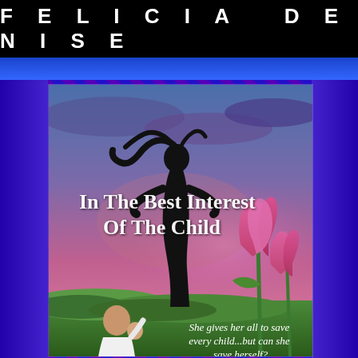FELICIA DENISE
[Figure (illustration): Book cover for 'In The Best Interest Of The Child' by Felicia Denise. Shows a silhouette of a woman with windblown hair against a dramatic purple-blue sky with pink clouds, large pink tulips on the right side, a man sitting with a child in a green field at the bottom left. Text on cover reads 'In The Best Interest Of The Child' and 'She gives her all to save every child...but can she save herself?'. The cover is surrounded by a blue and purple geometric patterned border.]